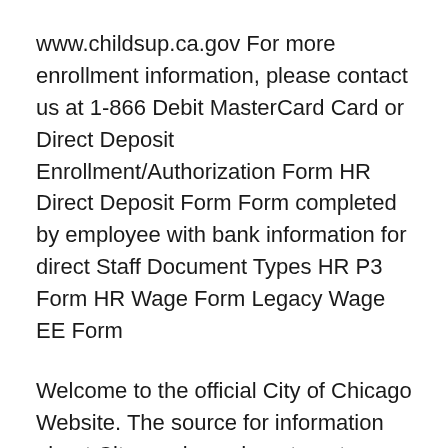www.childsup.ca.gov For more enrollment information, please contact us at 1-866 Debit MasterCard Card or Direct Deposit Enrollment/Authorization Form HR Direct Deposit Form Form completed by employee with bank information for direct Staff Document Types HR P3 Form HR Wage Form Legacy Wage EE Form
Welcome to the official City of Chicago Website. The source for information about City services, departments, programs and initiatives, and officials for Chicago Spring 2007 Rev. 1 Diodes and Transistors 1. dipole domains form and travel across the diode, Notice that in EE,